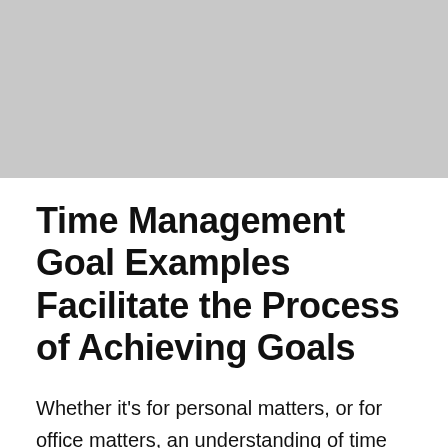[Figure (photo): Gray placeholder image at top of page]
Time Management Goal Examples Facilitate the Process of Achieving Goals
Whether it's for personal matters, or for office matters, an understanding of time management goal examples can make us make the various